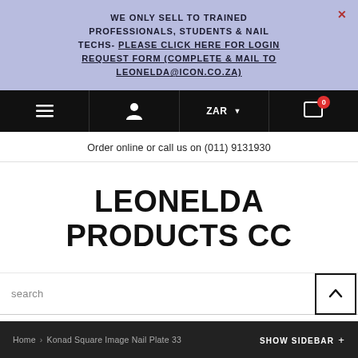WE ONLY SELL TO TRAINED PROFESSIONALS, STUDENTS & NAIL TECHS- PLEASE CLICK HERE FOR LOGIN REQUEST FORM (COMPLETE & MAIL TO LEONELDA@ICON.CO.ZA)
[Figure (screenshot): Black navigation bar with hamburger menu icon, user icon, ZAR currency selector with dropdown arrow, and shopping cart icon with red badge showing 0]
Order online or call us on (011) 9131930
LEONELDA PRODUCTS CC
search
Home > Konad Square Image Nail Plate 33 SHOW SIDEBAR +